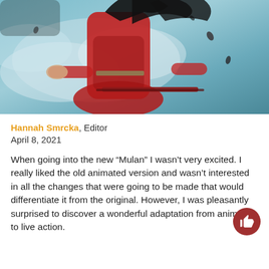[Figure (photo): Movie promotional image showing a figure in a red dress with dark flowing hair against a blue-grey sky background, from the 2020 live-action Mulan film]
Hannah Smrcka, Editor
April 8, 2021
When going into the new “Mulan” I wasn’t very excited. I really liked the old animated version and wasn’t interested in all the changes that were going to be made that would differentiate it from the original. However, I was pleasantly surprised to discover a wonderful adaptation from animation to live action.